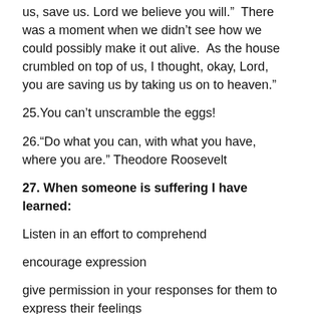us, save us. Lord we believe you will.”  There was a moment when we didn’t see how we could possibly make it out alive.  As the house crumbled on top of us, I thought, okay, Lord, you are saving us by taking us on to heaven.”
25.You can’t unscramble the eggs!
26.“Do what you can, with what you have, where you are.” Theodore Roosevelt
27. When someone is suffering I have learned:
Listen in an effort to comprehend
encourage expression
give permission in your responses for them to express their feelings